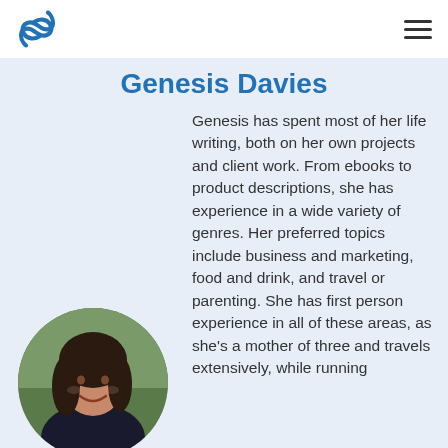SS logo and navigation menu
Genesis Davies
Genesis has spent most of her life writing, both on her own projects and client work. From ebooks to product descriptions, she has experience in a wide variety of genres. Her preferred topics include business and marketing, food and drink, and travel or parenting. She has first person experience in all of these areas, as she's a mother of three and travels extensively, while running
[Figure (photo): Circular headshot photo of Genesis Davies, a woman with dark hair, smiling, wearing a dark top, photographed outdoors.]